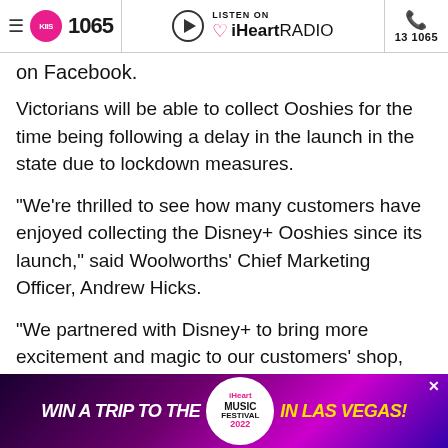KIIS 1065 | LISTEN ON iHeartRADIO | 13 1065
on Facebook.
Victorians will be able to collect Ooshies for the time being following a delay in the launch in the state due to lockdown measures.
“We’re thrilled to see how many customers have enjoyed collecting the Disney+ Ooshies since its launch,” said Woolworths’ Chief Marketing Officer, Andrew Hicks.
“We partnered with Disney+ to bring more excitement and magic to our customers’ shop, particularly during a very challenging year.
[Figure (other): iHeartRADIO Music Festival 2022 Win a Trip to Las Vegas advertisement banner]